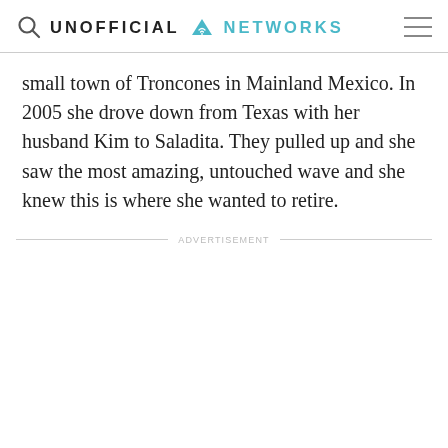UNOFFICIAL NETWORKS
small town of Troncones in Mainland Mexico. In 2005 she drove down from Texas with her husband Kim to Saladita. They pulled up and she saw the most amazing, untouched wave and she knew this is where she wanted to retire.